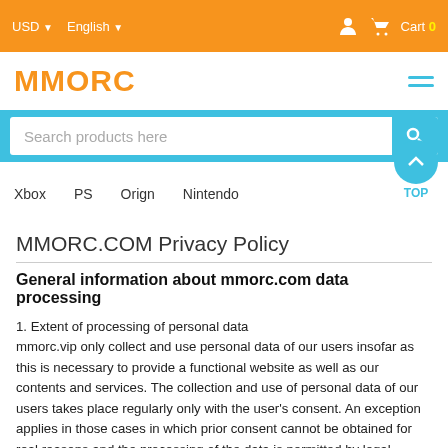USD  English  Cart 0
[Figure (logo): MMORC logo in orange text with hamburger menu icon]
[Figure (screenshot): Search bar with placeholder 'Search products here' and blue search button]
Xbox  PS  Orign  Nintendo  TOP
MMORC.COM Privacy Policy
General information about mmorc.com data processing
1. Extent of processing of personal data
mmorc.vip only collect and use personal data of our users insofar as this is necessary to provide a functional website as well as our contents and services. The collection and use of personal data of our users takes place regularly only with the user's consent. An exception applies in those cases in which prior consent cannot be obtained for real reasons and the processing of the data is permitted by legal regulations.